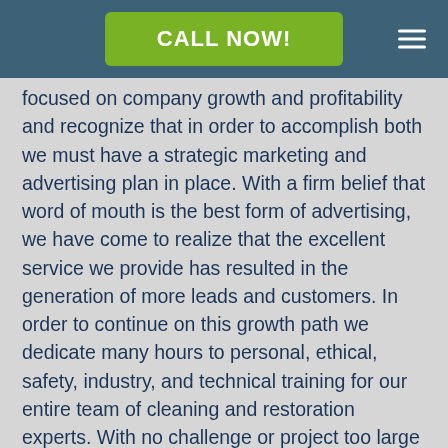CALL NOW!
focused on company growth and profitability and recognize that in order to accomplish both we must have a strategic marketing and advertising plan in place. With a firm belief that word of mouth is the best form of advertising, we have come to realize that the excellent service we provide has resulted in the generation of more leads and customers. In order to continue on this growth path we dedicate many hours to personal, ethical, safety, industry, and technical training for our entire team of cleaning and restoration experts. With no challenge or project too large or too small, we are dedicated to our professional appearance and the implementation and execution of our professional cleaning and restoration services. Reach out to the specialists at